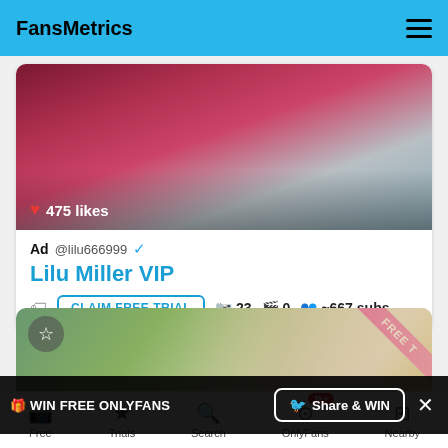FansMetrics
[Figure (photo): Cropped photo showing a person in red lingerie, with 475 likes badge]
Ad @lilu666999 ✔
Lilu Miller VIP
CLAIM FREE TRIAL  📷 23  🎬 0  👥 ~667 subs
[Figure (photo): Partial photo of a blonde person outdoors with a pink FREE TRIAL banner corner]
🎁 WIN FREE ONLYFANS  Share & WIN  ×
Free  Trials  Search  OnlyFans 3k+  Nearby